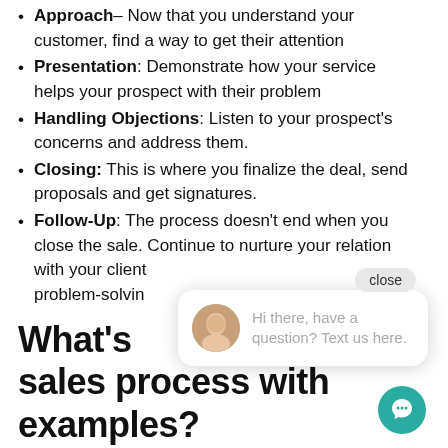Approach– Now that you understand your customer, find a way to get their attention
Presentation: Demonstrate how your service helps your prospect with their problem
Handling Objections: Listen to your prospect's concerns and address them.
Closing: This is where you finalize the deal, send proposals and get signatures.
Follow-Up: The process doesn't end when you close the sale. Continue to nurture your relation with your client problem-solvin
What's sales process with examples?